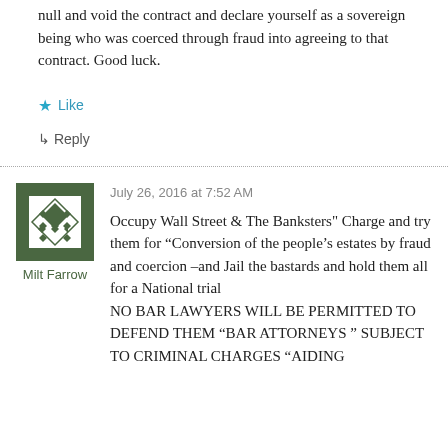null and void the contract and declare yourself as a sovereign being who was coerced through fraud into agreeing to that contract. Good luck.
Like
Reply
July 26, 2016 at 7:52 AM
Milt Farrow
Occupy Wall Street & The Banksters" Charge and try them for "Conversion of the people's estates by fraud and coercion –and Jail the bastards and hold them all for a National trial
NO BAR LAWYERS WILL BE PERMITTED TO DEFEND THEM "BAR ATTORNEYS " SUBJECT TO CRIMINAL CHARGES "AIDING